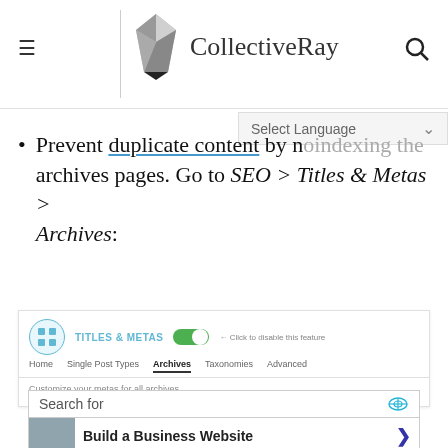CollectiveRay
Select Language
Prevent duplicate content by noindexing the archives pages. Go to SEO > Titles & Metas > Archives:
[Figure (screenshot): Screenshot showing SEO plugin Titles & Metas navigation with Archives tab selected and 'Customize your metas for all archives' text]
[Figure (screenshot): Ad block showing Search for, Build a Business Website and Create a Web Page links, with Glocal Search footer]